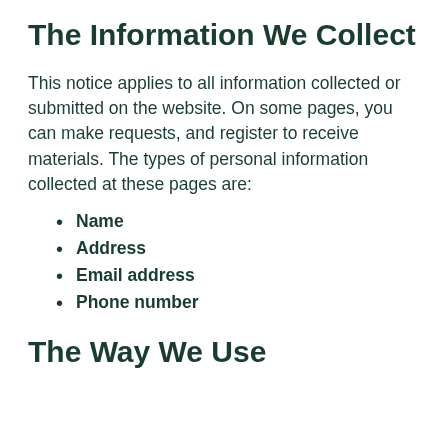The Information We Collect
This notice applies to all information collected or submitted on the website. On some pages, you can make requests, and register to receive materials. The types of personal information collected at these pages are:
Name
Address
Email address
Phone number
The Way We Use